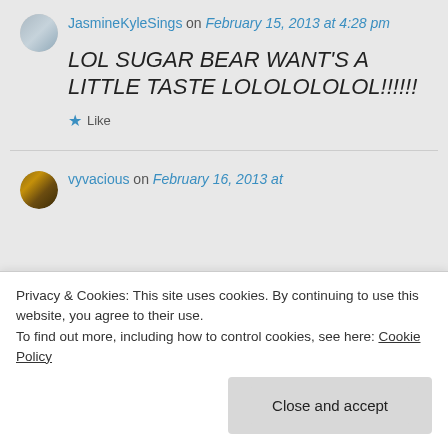JasmineKyleSings on February 15, 2013 at 4:28 pm
LOL SUGAR BEAR WANT'S A LITTLE TASTE LOLOLOLOLOL!!!!!!
Like
vyvacious on February 16, 2013 at
Privacy & Cookies: This site uses cookies. By continuing to use this website, you agree to their use.
To find out more, including how to control cookies, see here: Cookie Policy
Close and accept